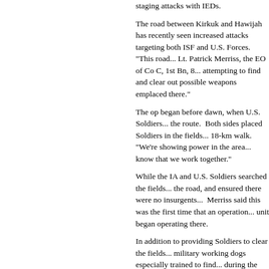staging attacks with IEDs.
The road between Kirkuk and Hawijah has recently seen increased attacks targeting both ISF and U.S. Forces. "This road... Lt. Patrick Merriss, the EO of Co C, 1st Bn, 8... attempting to find and clear out possible weapons emplaced there."
The op began before dawn, when U.S. Soldiers... the route. Both sides placed Soldiers in the fi... 18-km walk. "We're showing power in the are... know that we work together."
While the IA and U.S. Soldiers searched the f... the road, and ensured there were no insurgents... Merriss said this was the first time that an op... unit began operating there.
In addition to providing Soldiers to clear the f... military working dogs especially trained to fi... during the op, multiple command wires used t... operation was also successful in its secondary... and denying cache locations and trigger point... emplacement locations," said Merriss.
Ganem explained this op showed insurgents i... to go to conduct ops and keep people safe. H... IEDs on this route in the future after seeing th...
-30-